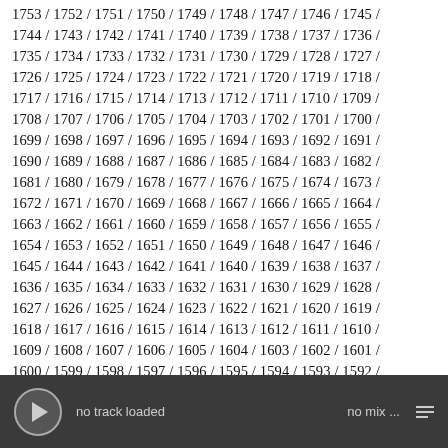1753 / 1752 / 1751 / 1750 / 1749 / 1748 / 1747 / 1746 / 1745 / 1744 / 1743 / 1742 / 1741 / 1740 / 1739 / 1738 / 1737 / 1736 / 1735 / 1734 / 1733 / 1732 / 1731 / 1730 / 1729 / 1728 / 1727 / 1726 / 1725 / 1724 / 1723 / 1722 / 1721 / 1720 / 1719 / 1718 / 1717 / 1716 / 1715 / 1714 / 1713 / 1712 / 1711 / 1710 / 1709 / 1708 / 1707 / 1706 / 1705 / 1704 / 1703 / 1702 / 1701 / 1700 / 1699 / 1698 / 1697 / 1696 / 1695 / 1694 / 1693 / 1692 / 1691 / 1690 / 1689 / 1688 / 1687 / 1686 / 1685 / 1684 / 1683 / 1682 / 1681 / 1680 / 1679 / 1678 / 1677 / 1676 / 1675 / 1674 / 1673 / 1672 / 1671 / 1670 / 1669 / 1668 / 1667 / 1666 / 1665 / 1664 / 1663 / 1662 / 1661 / 1660 / 1659 / 1658 / 1657 / 1656 / 1655 / 1654 / 1653 / 1652 / 1651 / 1650 / 1649 / 1648 / 1647 / 1646 / 1645 / 1644 / 1643 / 1642 / 1641 / 1640 / 1639 / 1638 / 1637 / 1636 / 1635 / 1634 / 1633 / 1632 / 1631 / 1630 / 1629 / 1628 / 1627 / 1626 / 1625 / 1624 / 1623 / 1622 / 1621 / 1620 / 1619 / 1618 / 1617 / 1616 / 1615 / 1614 / 1613 / 1612 / 1611 / 1610 / 1609 / 1608 / 1607 / 1606 / 1605 / 1604 / 1603 / 1602 / 1601 / 1600 / 1599 / 1598 / 1597 / 1596 / 1595 / 1594 / 1593 / 1592 /
no track loaded    no mix ...